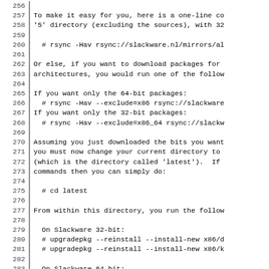Lines 256-285 of a Slackware documentation/script file showing rsync and upgradepkg commands for downloading and installing packages.